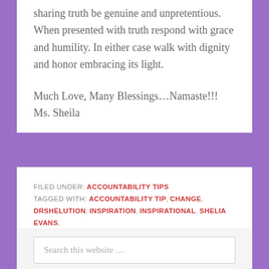sharing truth be genuine and unpretentious. When presented with truth respond with grace and humility. In either case walk with dignity and honor embracing its light.
Much Love, Many Blessings…Namaste!!!
Ms. Sheila
FILED UNDER: ACCOUNTABILITY TIPS
TAGGED WITH: ACCOUNTABILITY TIP, CHANGE, DRSHELUTION, INSPIRATION, INSPIRATIONAL, SHELIA EVANS, TRANSFORMATION, TRANSFORMATION MADE SIMPLE
Search this website …